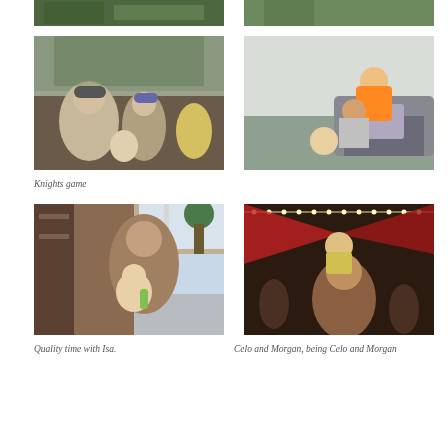[Figure (photo): Top partial photo on left side - outdoor scene]
[Figure (photo): Top partial photo on right side - outdoor scene]
[Figure (photo): Family at Knights baseball game - man with sunglasses and cap, woman, and baby]
[Figure (photo): Children playing indoors on a couch - boy in orange shirt climbing on another child]
Knights game
[Figure (photo): Woman holding baby with a bottle, sitting indoors near a window]
[Figure (photo): Nighttime outdoor event - person with child on shoulders, red tent canopy and string lights]
Quality time with Isa.
Celo and Morgan, being Celo and Morgan